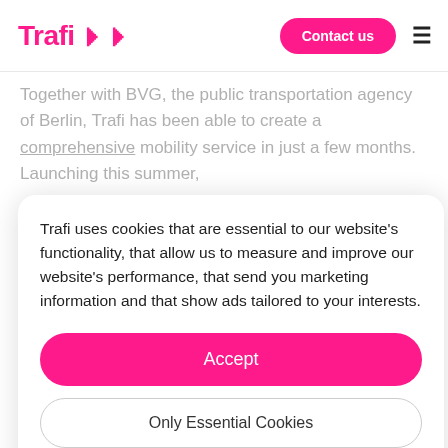Trafi | >> Contact us ≡
Together with BVG, the public transportation agency of Berlin, Trafi has been able to create a comprehensive mobility service in just a few months. Launching this summer,
Trafi uses cookies that are essential to our website's functionality, that allow us to measure and improve our website's performance, that send you marketing information and that show ads tailored to your interests.
Accept
Only Essential Cookies
Cookie Preferences
See our Cookie Policy
integrated MaaS solutions. Others, on the contrary, are